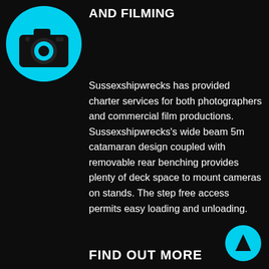[Figure (illustration): Cyan circle with a black camera icon (photography/filming icon)]
AND FILMING
Sussexshipwrecks has provided charter services for both photographers and commercial film productions. Sussexshipwrecks's wide beam 5m catamaran design coupled with removable rear benching provides plenty of deck space to mount cameras on stands. The step free access permits easy loading and unloading.
FIND OUT MORE
[Figure (illustration): Cyan circle with a black upward-pointing triangle (navigation button)]